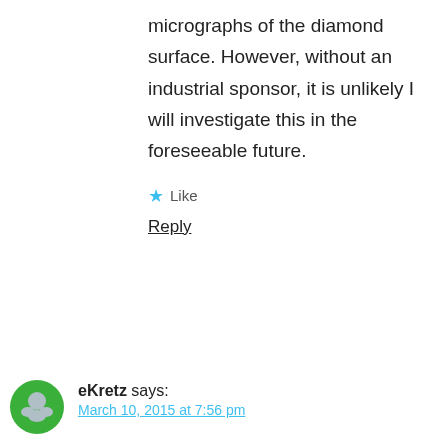micrographs of the diamond surface. However, without an industrial sponsor, it is unlikely I will investigate this in the foreseeable future.
★ Like
Reply
eKretz says: March 10, 2015 at 7:56 pm
Awesome write-ups Todd. Your Atoma 400 must be way less worn than mine; at your instigation (don't know if you recall our talking about it at BE) I shaved from both